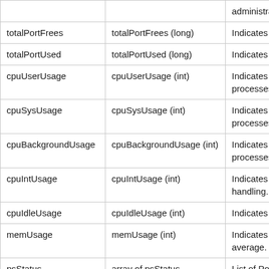|  |  |  |
| --- | --- | --- |
|  |  | administratively |
| totalPortFrees | totalPortFrees (long) | Indicates the n... |
| totalPortUsed | totalPortUsed (long) | Indicates the n... |
| cpuUserUsage | cpuUserUsage (int) | Indicates the pe... processes, suc... |
| cpuSysUsage | cpuSysUsage (int) | Indicates the pe... processes for t... |
| cpuBackgroundUsage | cpuBackgroundUsage (int) | Indicates the pe... processes.. |
| cpuIntUsage | cpuIntUsage (int) | Indicates the pe... handling. |
| cpuIdleUsage | cpuIdleUsage (int) | Indicates the pe... |
| memUsage | memUsage (int) | Indicates the ar... average. |
| psStatus | array of psStatus (powerSupply) | List of Power S... system. |
| fanStatus | array of fanStatus (fan) | List of Fan stat... |
| collectionTime | collectionTime (string) | Indicates the ti... |